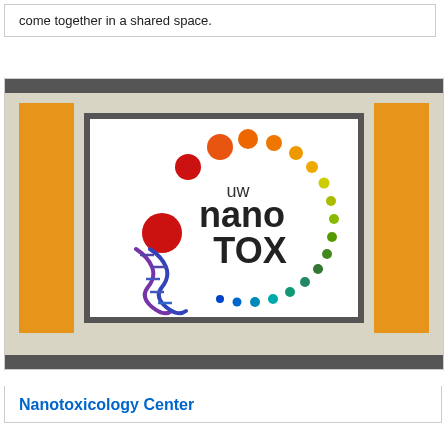come together in a shared space.
[Figure (logo): UW nanoTOX (Nanotoxicology Center) logo: circular arrangement of colored dots (red, orange, yellow, green, teal, blue) and a blue DNA double helix, with text 'uw nano TOX' inside a white square with dark gray border, set against an amber/orange and beige background.]
Nanotoxicology Center